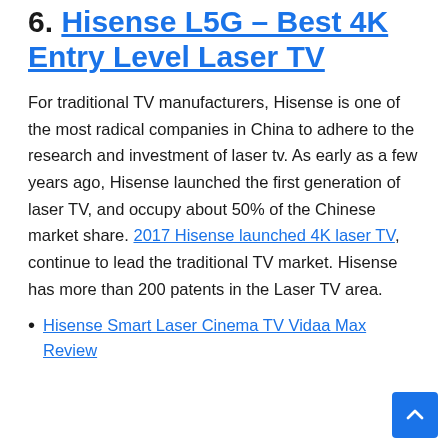6. Hisense L5G – Best 4K Entry Level Laser TV
For traditional TV manufacturers, Hisense is one of the most radical companies in China to adhere to the research and investment of laser tv. As early as a few years ago, Hisense launched the first generation of laser TV, and occupy about 50% of the Chinese market share. 2017 Hisense launched 4K laser TV, continue to lead the traditional TV market. Hisense has more than 200 patents in the Laser TV area.
Hisense Smart Laser Cinema TV Vidaa Max Review